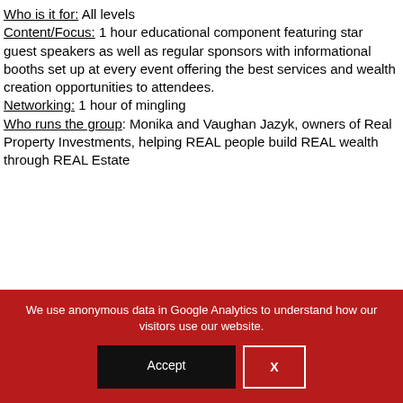Who is it for: All levels
Content/Focus: 1 hour educational component featuring star guest speakers as well as regular sponsors with informational booths set up at every event offering the best services and wealth creation opportunities to attendees.
Networking: 1 hour of mingling
Who runs the group: Monika and Vaughan Jazyk, owners of Real Property Investments, helping REAL people build REAL wealth through REAL Estate
We use anonymous data in Google Analytics to understand how our visitors use our website.
Accept
X